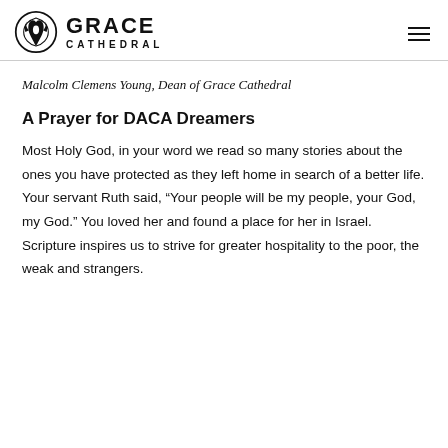Grace Cathedral
Malcolm Clemens Young, Dean of Grace Cathedral
A Prayer for DACA Dreamers
Most Holy God, in your word we read so many stories about the ones you have protected as they left home in search of a better life. Your servant Ruth said, “Your people will be my people, your God, my God.” You loved her and found a place for her in Israel. Scripture inspires us to strive for greater hospitality to the poor, the weak and strangers.